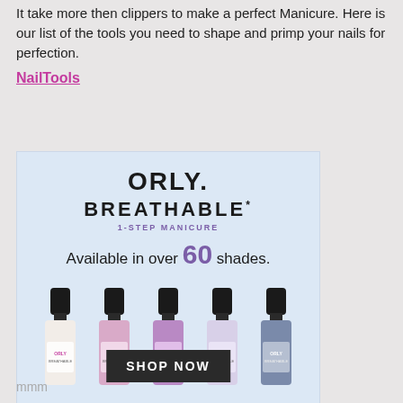It take more then clippers to make a perfect Manicure. Here is our list of the tools you need to shape and primp your nails for perfection.
NailTools
[Figure (photo): ORLY Breathable 1-Step Manicure advertisement. Light blue background with ORLY. BREATHABLE* 1-STEP MANICURE text, 'Available in over 60 shades.' with purple 60, five nail polish bottles in pink/purple/lavender/slate shades, and a dark SHOP NOW button overlay.]
mmm